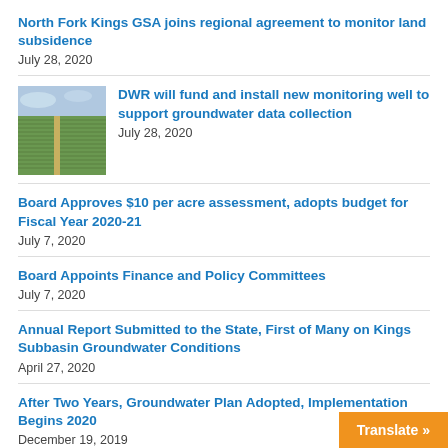North Fork Kings GSA joins regional agreement to monitor land subsidence
July 28, 2020
[Figure (photo): Aerial view of farmland with rows of crops and irrigation infrastructure]
DWR will fund and install new monitoring well to support groundwater data collection
July 28, 2020
Board Approves $10 per acre assessment, adopts budget for Fiscal Year 2020-21
July 7, 2020
Board Appoints Finance and Policy Committees
July 7, 2020
Annual Report Submitted to the State, First of Many on Kings Subbasin Groundwater Conditions
April 27, 2020
After Two Years, Groundwater Plan Adopted, Implementation Begins 2020
December 19, 2019